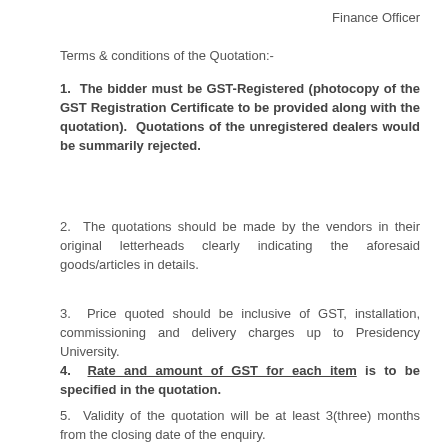Finance Officer
Terms & conditions of the Quotation:-
1. The bidder must be GST-Registered (photocopy of the GST Registration Certificate to be provided along with the quotation). Quotations of the unregistered dealers would be summarily rejected.
2. The quotations should be made by the vendors in their original letterheads clearly indicating the aforesaid goods/articles in details.
3. Price quoted should be inclusive of GST, installation, commissioning and delivery charges up to Presidency University.
4. Rate and amount of GST for each item is to be specified in the quotation.
5. Validity of the quotation will be at least 3(three) months from the closing date of the enquiry.